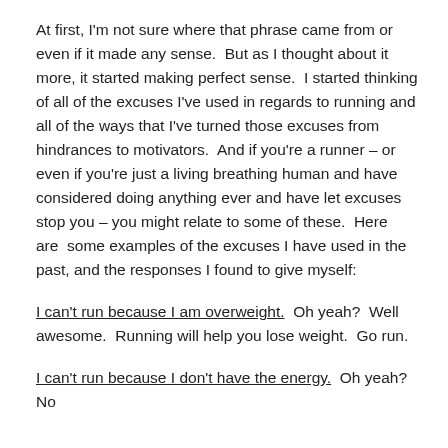At first, I'm not sure where that phrase came from or even if it made any sense. But as I thought about it more, it started making perfect sense. I started thinking of all of the excuses I've used in regards to running and all of the ways that I've turned those excuses from hindrances to motivators. And if you're a runner – or even if you're just a living breathing human and have considered doing anything ever and have let excuses stop you – you might relate to some of these. Here are some examples of the excuses I have used in the past, and the responses I found to give myself:
I can't run because I am overweight. Oh yeah? Well awesome. Running will help you lose weight. Go run.
I can't run because I don't have the energy. Oh yeah? No